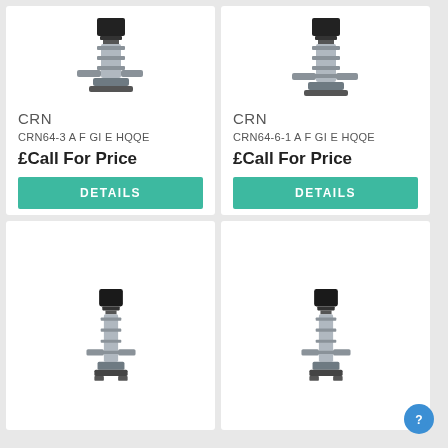[Figure (photo): Industrial vertical multistage centrifugal pump CRN64-3, stainless steel body with black motor on top]
CRN
CRN64-3 A F GI E HQQE
£Call For Price
DETAILS
[Figure (photo): Industrial vertical multistage centrifugal pump CRN64-6-1, stainless steel body with black motor on top]
CRN
CRN64-6-1 A F GI E HQQE
£Call For Price
DETAILS
[Figure (photo): Industrial vertical multistage centrifugal pump, stainless steel body with black motor, bottom row left]
[Figure (photo): Industrial vertical multistage centrifugal pump, stainless steel body with black motor, bottom row right]